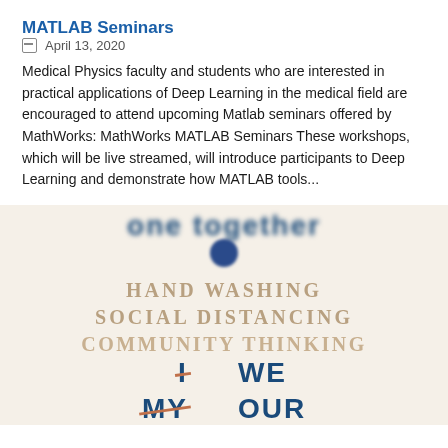MATLAB Seminars
April 13, 2020
Medical Physics faculty and students who are interested in practical applications of Deep Learning in the medical field are encouraged to attend upcoming Matlab seminars offered by MathWorks: MathWorks MATLAB Seminars These workshops, which will be live streamed, will introduce participants to Deep Learning and demonstrate how MATLAB tools...
[Figure (infographic): Infographic with partially visible blurred text at top, a blue dot, and centered text reading HAND WASHING / SOCIAL DISTANCING / COMMUNITY THINKING, followed by strikethrough I and MY next to WE and OUR]